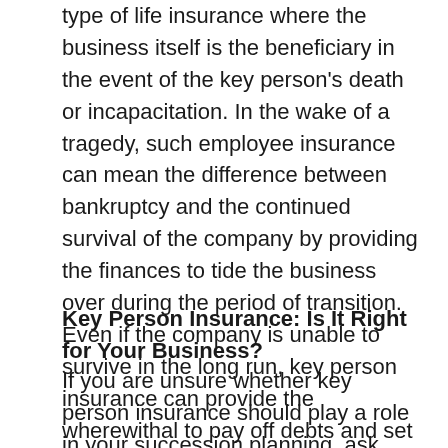type of life insurance where the business itself is the beneficiary in the event of the key person's death or incapacitation. In the wake of a tragedy, such employee insurance can mean the difference between bankruptcy and the continued survival of the company by providing the finances to tide the business over during the period of transition. Even if the company is unable to survive in the long run, key person insurance can provide the wherewithal to pay off debts and set the business's affairs in order before closing down.
Key Person Insurance: Is It Right for Your Business?
If you are unsure whether key person insurance should play a role in your succession planning, ask yourself this question: Who in my business is irreplaceable? If there is any individual without whom you can't imagine